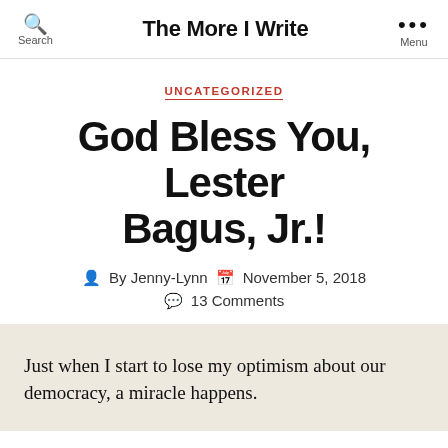The More I Write
UNCATEGORIZED
God Bless You, Lester Bagus, Jr.!
By Jenny-Lynn   November 5, 2018   13 Comments
Just when I start to lose my optimism about our democracy, a miracle happens.